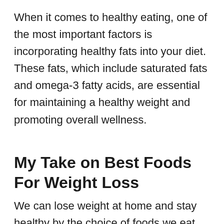When it comes to healthy eating, one of the most important factors is incorporating healthy fats into your diet. These fats, which include saturated fats and omega-3 fatty acids, are essential for maintaining a healthy weight and promoting overall wellness.
My Take on Best Foods For Weight Loss
We can lose weight at home and stay healthy by the choice of foods we eat.